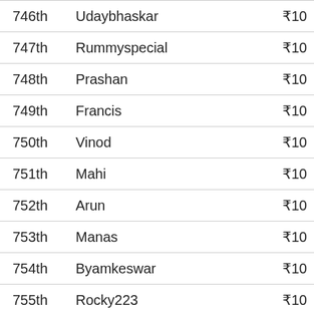| Rank | Name | Prize |
| --- | --- | --- |
| 746th | Udaybhaskar | ₹10 |
| 747th | Rummyspecial | ₹10 |
| 748th | Prashan | ₹10 |
| 749th | Francis | ₹10 |
| 750th | Vinod | ₹10 |
| 751th | Mahi | ₹10 |
| 752th | Arun | ₹10 |
| 753th | Manas | ₹10 |
| 754th | Byamkeswar | ₹10 |
| 755th | Rocky223 | ₹10 |
| 756th | Nitin | ₹10 |
| 757th | Raju | ₹10 |